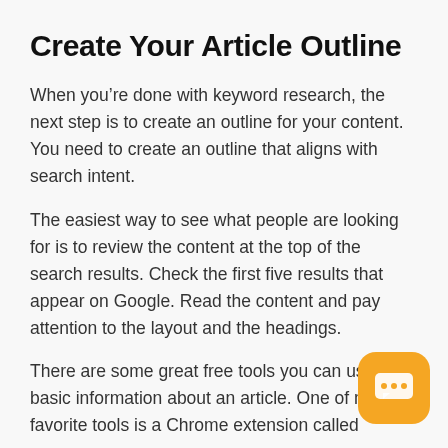Create Your Article Outline
When you’re done with keyword research, the next step is to create an outline for your content. You need to create an outline that aligns with search intent.
The easiest way to see what people are looking for is to review the content at the top of the search results. Check the first five results that appear on Google. Read the content and pay attention to the layout and the headings.
There are some great free tools you can use basic information about an article. One of my favorite tools is a Chrome extension called